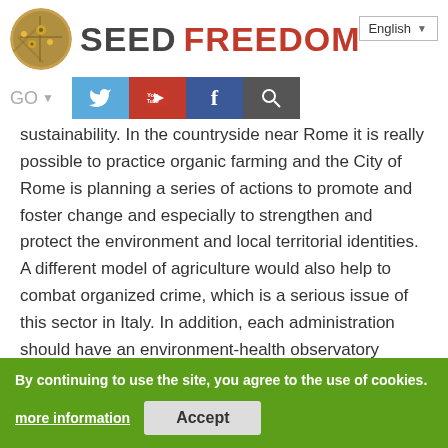SEED FREEDOM
sustainability. In the countryside near Rome it is really possible to practice organic farming and the City of Rome is planning a series of actions to promote and foster change and especially to strengthen and protect the environment and local territorial identities. A different model of agriculture would also help to combat organized crime, which is a serious issue of this sector in Italy. In addition, each administration should have an environment-health observatory where evaluations are made in the perspective of independent science. It is necessary at an institutional level we give voice to those who sometimes heroically in the world of science are seeking
By continuing to use the site, you agree to the use of cookies. more information Accept